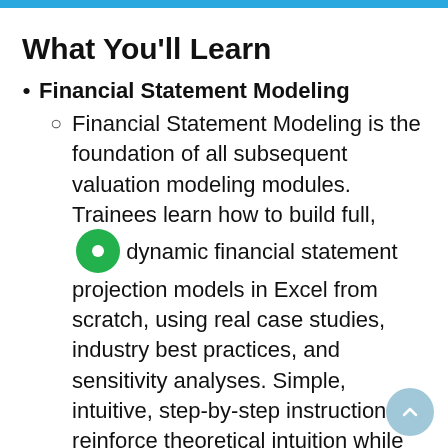What You'll Learn
Financial Statement Modeling
Financial Statement Modeling is the foundation of all subsequent valuation modeling modules. Trainees learn how to build full, dynamic financial statement projection models in Excel from scratch, using real case studies, industry best practices, and sensitivity analyses. Simple, intuitive, step-by-step instructions reinforce theoretical intuition while teaching the mechanics of